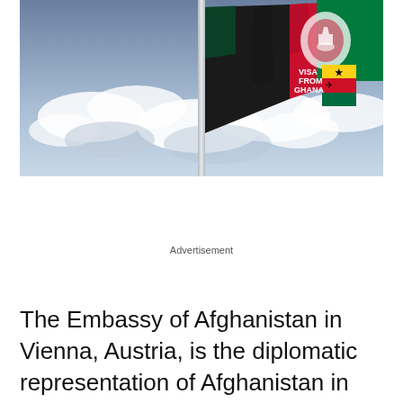[Figure (photo): Afghan flag waving on a flagpole against a cloudy sky, with a 'VISA FROM GHANA' logo/watermark overlay in the upper-left area of the flag]
Advertisement
The Embassy of Afghanistan in Vienna, Austria, is the diplomatic representation of Afghanistan in